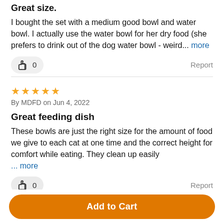Great size.
I bought the set with a medium good bowl and water bowl. I actually use the water bowl for her dry food (she prefers to drink out of the dog water bowl - weird... more
👍 0   Report
★★★★★ By MDFD on Jun 4, 2022
Great feeding dish
These bowls are just the right size for the amount of food we give to each cat at one time and the correct height for comfort while eating. They clean up easily ... more
👍 0   Report
Add to Cart